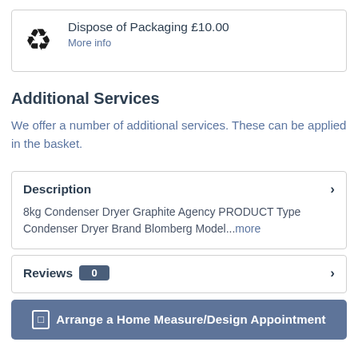Dispose of Packaging £10.00
More info
Additional Services
We offer a number of additional services. These can be applied in the basket.
Description
8kg Condenser Dryer Graphite Agency PRODUCT Type Condenser Dryer Brand Blomberg Model...more
Reviews 0
Arrange a Home Measure/Design Appointment